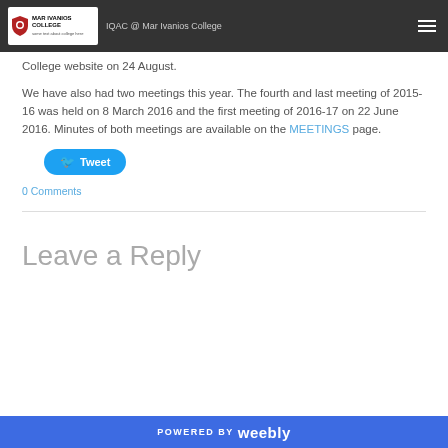IQAC @ Mar Ivanios College
College website on 24 August.
We have also had two meetings this year. The fourth and last meeting of 2015-16 was held on 8 March 2016 and the first meeting of 2016-17 on 22 June 2016. Minutes of both meetings are available on the MEETINGS page.
Tweet
0 Comments
Leave a Reply
POWERED BY weebly